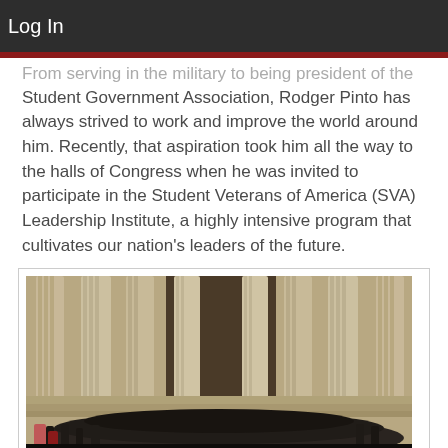Log In
From serving in the military to being president of the Student Government Association, Rodger Pinto has always strived to work and improve the world around him. Recently, that aspiration took him all the way to the halls of Congress when he was invited to participate in the Student Veterans of America (SVA) Leadership Institute, a highly intensive program that cultivates our nation's leaders of the future.
[Figure (photo): Group photo of SVA Leadership Institute participants standing on the steps of a large classical building with tall columns, likely the Lincoln Memorial in Washington D.C. A large crowd of students wearing matching dark t-shirts with SVA logos are gathered on the steps.]